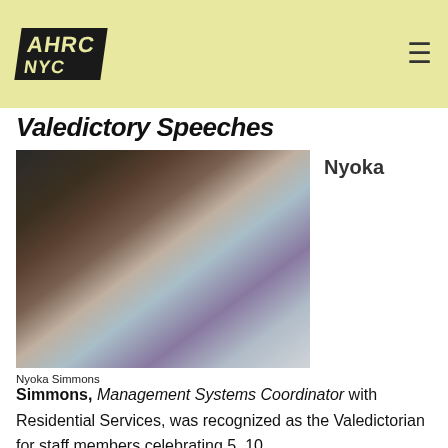AHRC NYC
Valedictory Speeches
[Figure (photo): Woman speaking at a podium with microphones, wearing a black outfit]
Nyoka Simmons
Nyoka
Simmons, Management Systems Coordinator with Residential Services, was recognized as the Valedictorian for staff members celebrating 5, 10,